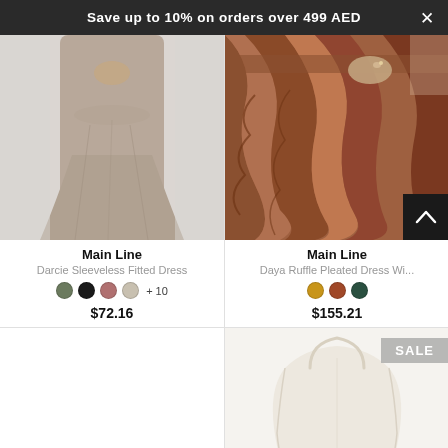Save up to 10% on orders over 499 AED
[Figure (photo): Woman wearing a taupe/mauve sleeveless fitted maxi dress against a light grey background]
Main Line
Darcie Sleeveless Fitted Dress
$72.16
[Figure (photo): Close-up of a brown ruffle pleated dress with textured fabric detail]
Main Line
Daya Ruffle Pleated Dress Wi...
$155.21
[Figure (photo): Partial view of a cream/off-white garment or bag against white background with SALE badge]